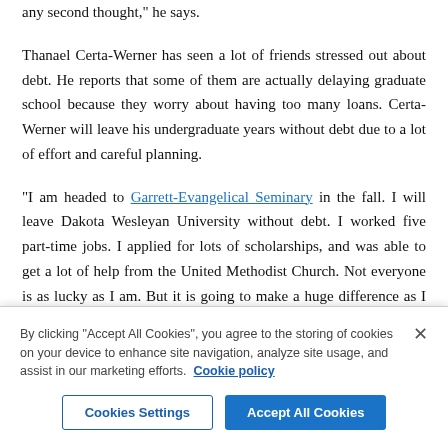any second thought," he says.
Thanael Certa-Werner has seen a lot of friends stressed out about debt. He reports that some of them are actually delaying graduate school because they worry about having too many loans. Certa-Werner will leave his undergraduate years without debt due to a lot of effort and careful planning.
“I am headed to Garrett-Evangelical Seminary in the fall. I will leave Dakota Wesleyan University without debt. I worked five part-time jobs. I applied for lots of scholarships, and was able to get a lot of help from the United Methodist Church. Not everyone is as lucky as I am. But it is going to make a huge difference as I enter seminary,” says Thanael
By clicking “Accept All Cookies”, you agree to the storing of cookies on your device to enhance site navigation, analyze site usage, and assist in our marketing efforts. Cookie policy